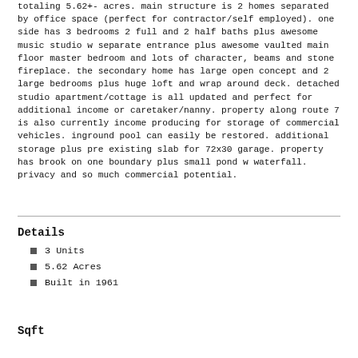totaling 5.62+- acres. main structure is 2 homes separated by office space (perfect for contractor/self employed). one side has 3 bedrooms 2 full and 2 half baths plus awesome music studio w separate entrance plus awesome vaulted main floor master bedroom and lots of character, beams and stone fireplace. the secondary home has large open concept and 2 large bedrooms plus huge loft and wrap around deck. detached studio apartment/cottage is all updated and perfect for additional income or caretaker/nanny. property along route 7 is also currently income producing for storage of commercial vehicles. inground pool can easily be restored. additional storage plus pre existing slab for 72x30 garage. property has brook on one boundary plus small pond w waterfall. privacy and so much commercial potential.
Details
3 Units
5.62 Acres
Built in 1961
Sqft